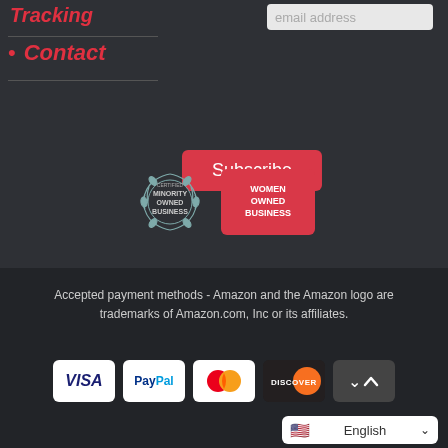Tracking
Contact
[Figure (screenshot): Email address input field]
[Figure (screenshot): Subscribe button]
[Figure (logo): Certified Minority Owned Business badge (wreath seal) and Women Owned Business red badge]
Accepted payment methods - Amazon and the Amazon logo are trademarks of Amazon.com, Inc or its affiliates.
[Figure (logo): Payment method logos: Visa, PayPal, Mastercard, Discover, and back-to-top arrow button]
[Figure (screenshot): English language selector dropdown]